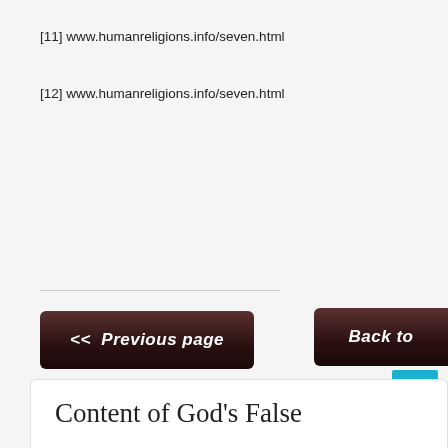[11] www.humanreligions.info/seven.html
[12] www.humanreligions.info/seven.html
<< Previous page
Back to
Published in  Chapter 3: Theological Consequences | Read more...
Content of God's False